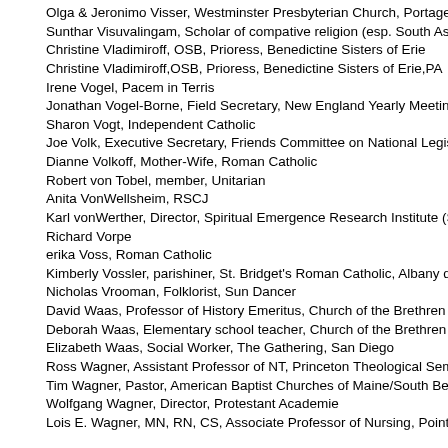Olga & Jeronimo Visser, Westminster Presbyterian Church, Portage, MI
Sunthar Visuvalingam, Scholar of compative religion (esp. South Asia)
Christine Vladimiroff, OSB, Prioress, Benedictine Sisters of Erie
Christine Vladimiroff,OSB, Prioress, Benedictine Sisters of Erie,PA
Irene Vogel, Pacem in Terris
Jonathan Vogel-Borne, Field Secretary, New England Yearly Meeting (Q
Sharon Vogt, Independent Catholic
Joe Volk, Executive Secretary, Friends Committee on National Legislatio
Dianne Volkoff, Mother-Wife, Roman Catholic
Robert von Tobel, member, Unitarian
Anita VonWellsheim, RSCJ
Karl vonWerther, Director, Spiritual Emergence Research Institute (S.E.R
Richard Vorpe
erika Voss, Roman Catholic
Kimberly Vossler, parishiner, St. Bridget's Roman Catholic, Albany dioce
Nicholas Vrooman, Folklorist, Sun Dancer
David Waas, Professor of History Emeritus, Church of the Brethren
Deborah Waas, Elementary school teacher, Church of the Brethren
Elizabeth Waas, Social Worker, The Gathering, San Diego
Ross Wagner, Assistant Professor of NT, Princeton Theological Semina
Tim Wagner, Pastor, American Baptist Churches of Maine/South Berwic
Wolfgang Wagner, Director, Protestant Academie
Lois E. Wagner, MN, RN, CS, Associate Professor of Nursing, Point Loma